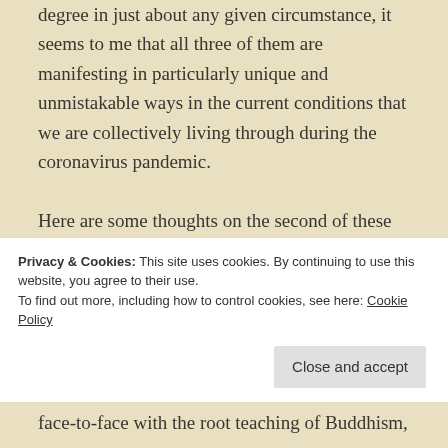degree in just about any given circumstance, it seems to me that all three of them are manifesting in particularly unique and unmistakable ways in the current conditions that we are collectively living through during the coronavirus pandemic.

Here are some thoughts on the second of these three characteristics – unsatisfactoriness. (And, in case you're interested in the first characteristic, impermanence, but missed that post, you can read
Privacy & Cookies: This site uses cookies. By continuing to use this website, you agree to their use.
To find out more, including how to control cookies, see here: Cookie Policy
face-to-face with the root teaching of Buddhism,